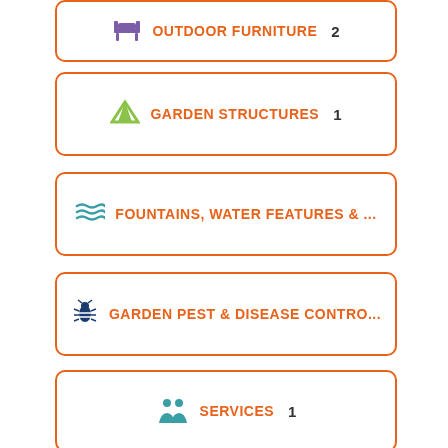OUTDOOR FURNITURE  2
GARDEN STRUCTURES  1
FOUNTAINS, WATER FEATURES & ...
GARDEN PEST & DISEASE CONTRO...
SERVICES  1